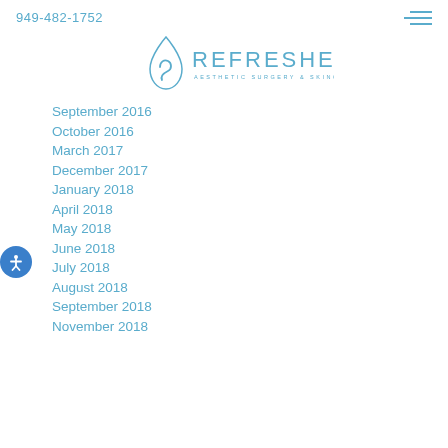949-482-1752
[Figure (logo): Refreshed Aesthetic Surgery & Skincare logo — water drop icon with stylized 'S' shape and text 'REFRESHED AESTHETIC SURGERY & SKINCARE']
September 2016
October 2016
March 2017
December 2017
January 2018
April 2018
May 2018
June 2018
July 2018
August 2018
September 2018
November 2018